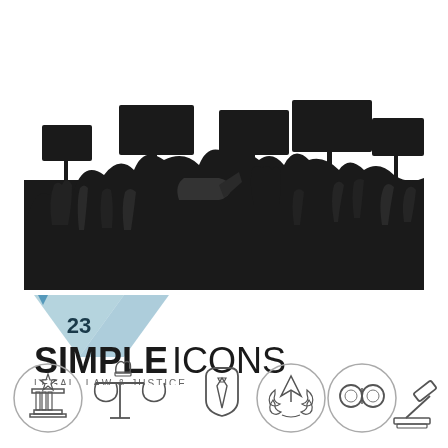[Figure (illustration): Silhouette of a protest crowd with raised hands, fists, and signs/placards against a white background]
[Figure (logo): SIMPLE ICONS logo with triangular badge showing number 23 and subtitle LEGAL, LAW & JUSTICE]
[Figure (illustration): Six legal/law icon outlines in a row: justice column with star, scales of justice with fist, shield with tie, pen nib with wreath, handcuffs, and gavel]